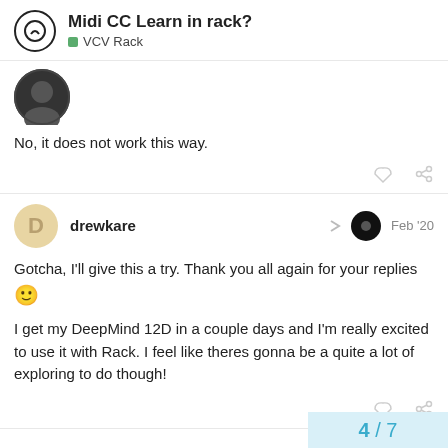Midi CC Learn in rack? — VCV Rack
[Figure (other): Previous poster avatar (dark circular avatar)]
No, it does not work this way.
drewkare   Feb '20
Gotcha, I'll give this a try. Thank you all again for your replies 🙂
I get my DeepMind 12D in a couple days and I'm really excited to use it with Rack. I feel like theres gonna be a quite a lot of exploring to do though!
4 / 7